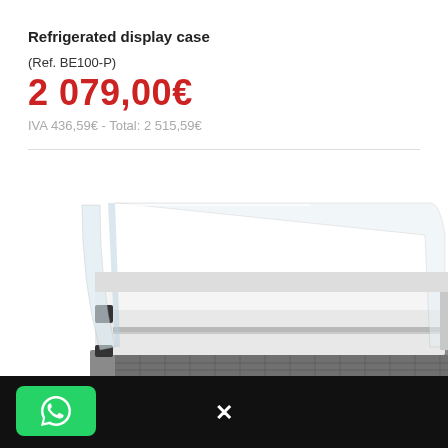Refrigerated display case
(Ref. BE100-P)
2 079,00€
IVA 436,59€ - Total: 2 515,59€
[Figure (photo): Refrigerated display case product photo showing a curved-glass deli/bakery refrigerated counter unit in white/stainless steel, viewed from an angle.]
[Figure (logo): WhatsApp logo button (green background, white phone handset icon) in bottom-left corner]
✕